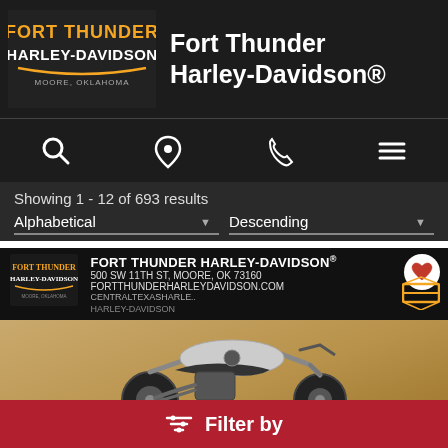[Figure (logo): Fort Thunder Harley-Davidson logo with orange and white text on dark background, Moore Oklahoma]
Fort Thunder Harley-Davidson®
[Figure (infographic): Navigation icons: search (magnifying glass), location pin, phone, hamburger menu]
Showing 1 - 12 of 693 results
Alphabetical    Descending
[Figure (screenshot): Fort Thunder Harley-Davidson dealership listing card with banner showing: FORT THUNDER HARLEY-DAVIDSON, 500 SW 11TH ST, MOORE, OK 73160, FORTTHUNDERHARLEYDAVIDSON.COM, CENTRALTEXASHARLE.. with heart/favorite button and HD shield logo. Below is a motorcycle photo on tan background.]
Filter by